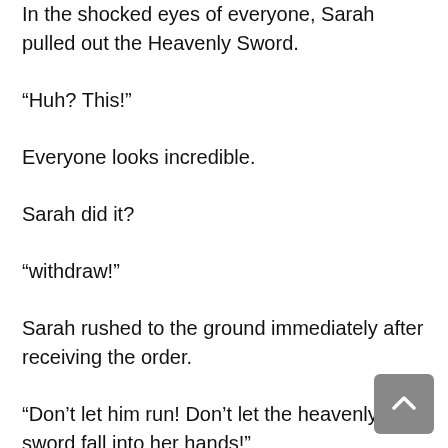In the shocked eyes of everyone, Sarah pulled out the Heavenly Sword.
“Huh? This!”
Everyone looks incredible.
Sarah did it?
“withdraw!”
Sarah rushed to the ground immediately after receiving the order.
“Don’t let him run! Don’t let the heavenly sword fall into her hands!”